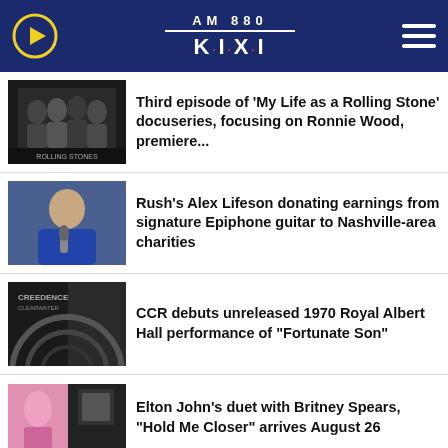AM 880 K·I·X·I
Third episode of 'My Life as a Rolling Stone' docuseries, focusing on Ronnie Wood, premiere...
Rush's Alex Lifeson donating earnings from signature Epiphone guitar to Nashville-area charities
CCR debuts unreleased 1970 Royal Albert Hall performance of "Fortunate Son"
Elton John's duet with Britney Spears, "Hold Me Closer" arrives August 26